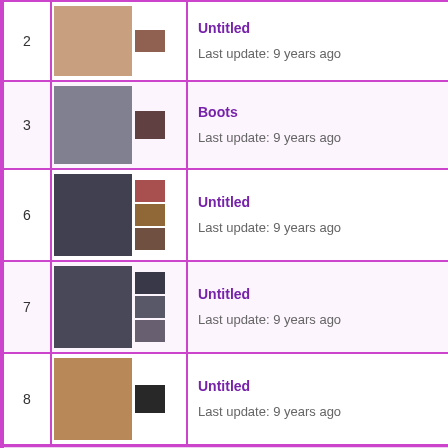| # | Images | Info |
| --- | --- | --- |
| 2 | [image] | Untitled
Last update: 9 years ago |
| 3 | [image] | Boots
Last update: 9 years ago |
| 6 | [image] | Untitled
Last update: 9 years ago |
| 7 | [image] | Untitled
Last update: 9 years ago |
| 8 | [image] | Untitled
Last update: 9 years ago |
Bags
| # | Images | Info |
| --- | --- | --- |
| 4 | [image] | Bags
Last update: 9 years ago |